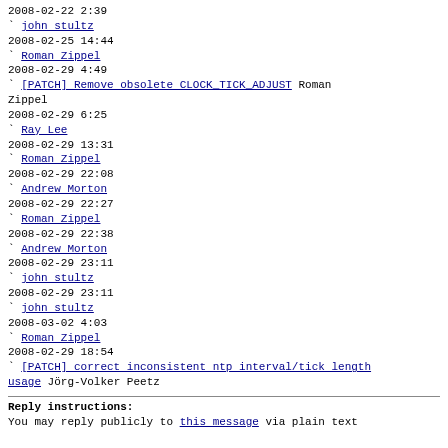2008-02-22  2:39
` john stultz
2008-02-25 14:44
` Roman Zippel
2008-02-29  4:49
` [PATCH] Remove obsolete CLOCK_TICK_ADJUST Roman Zippel
2008-02-29  6:25
` Ray Lee
2008-02-29 13:31
` Roman Zippel
2008-02-29 22:08
` Andrew Morton
2008-02-29 22:27
` Roman Zippel
2008-02-29 22:38
` Andrew Morton
2008-02-29 23:11
` john stultz
2008-02-29 23:11
` john stultz
2008-03-02  4:03
` Roman Zippel
2008-02-29 18:54
` [PATCH] correct inconsistent ntp interval/tick length usage Jörg-Volker Peetz
Reply instructions:
You may reply publicly to this message via plain text